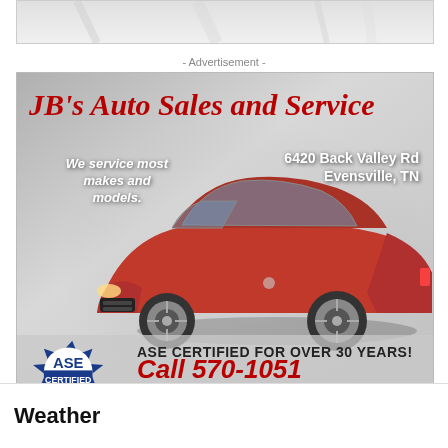[Figure (photo): Top cropped strip showing white fabric or background]
- Advertisement -
[Figure (illustration): JB's Auto Sales and Service advertisement. Features a red Ford Mustang car on a gray gradient background. Text reads: JB's Auto Sales and Service, We service most makes and models., 6420 Back Valley Rd Evensville TN, ASE CERTIFIED FOR OVER 30 YEARS!, Call 570-1051. Includes ASE Certified badge logo.]
Weather